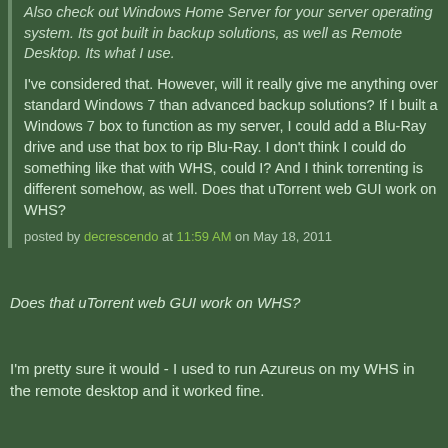Also check out Windows Home Server for your server operating system. Its got built in backup solutions, as well as Remote Desktop. Its what I use.
I've considered that. However, will it really give me anything over standard Windows 7 than advanced backup solutions? If I built a Windows 7 box to function as my server, I could add a Blu-Ray drive and use that box to rip Blu-Ray. I don't think I could do something like that with WHS, could I? And I think torrenting is different somehow, as well. Does that uTorrent web GUI work on WHS?
posted by decrescendo at 11:59 AM on May 18, 2011
Does that uTorrent web GUI work on WHS?
I'm pretty sure it would - I used to run Azureus on my WHS in the remote desktop and it worked fine.